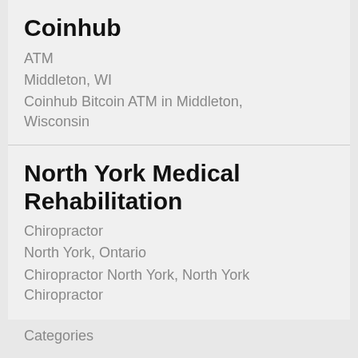Coinhub
ATM
Middleton, WI
Coinhub Bitcoin ATM in Middleton, Wisconsin
North York Medical Rehabilitation
Chiropractor
North York, Ontario
Chiropractor North York, North York Chiropractor
Categories